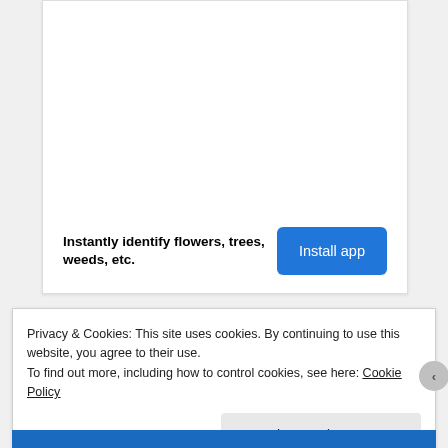[Figure (other): Advertisement banner with white background, showing a plant identification app ad with bold text and a blue install button]
Instantly identify flowers, trees, weeds, etc.
Install app
Privacy & Cookies: This site uses cookies. By continuing to use this website, you agree to their use.
To find out more, including how to control cookies, see here: Cookie Policy
Close and accept